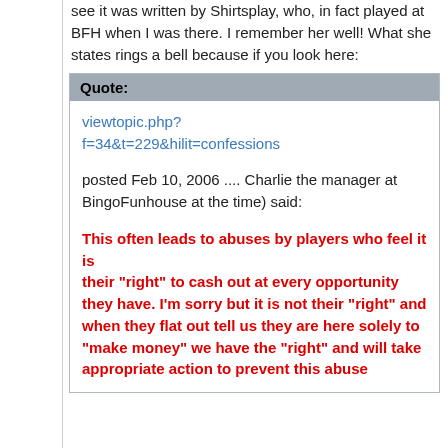see it was written by Shirtsplay, who, in fact played at BFH when I was there. I remember her well! What she states rings a bell because if you look here:
Quote:
viewtopic.php?f=34&t=229&hilit=confessions
posted Feb 10, 2006 .... Charlie the manager at BingoFunhouse at the time) said:
This often leads to abuses by players who feel it is their "right" to cash out at every opportunity they have. I'm sorry but it is not their "right" and when they flat out tell us they are here solely to "make money" we have the "right" and will take appropriate action to prevent this abuse